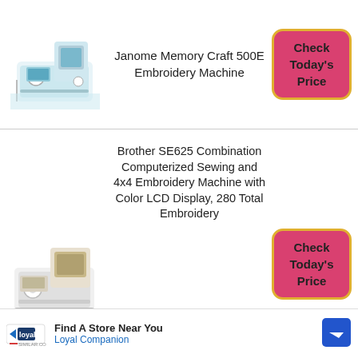[Figure (photo): Janome Memory Craft 500E embroidery machine product photo]
Janome Memory Craft 500E Embroidery Machine
[Figure (other): Check Today's Price button (red rounded rectangle with yellow border)]
[Figure (photo): Brother SE625 sewing and embroidery machine product photo]
Brother SE625 Combination Computerized Sewing and 4x4 Embroidery Machine with Color LCD Display, 280 Total Embroidery
[Figure (other): Check Today's Price button (red rounded rectangle with yellow border)]
[Figure (other): Advertisement banner: Find A Store Near You - Loyal Companion]